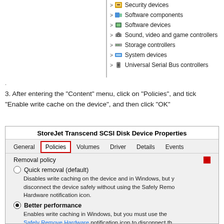[Figure (screenshot): Screenshot showing Windows Device Manager tree list with items: Security devices, Software components, Software devices, Sound video and game controllers, Storage controllers, System devices, Universal Serial Bus controllers. A vertical line is visible on the left side of the list.]
3. After entering the "Content" menu, click on “Policies”, and tick “Enable write cache on the device”, and then click “OK”
[Figure (screenshot): Screenshot of StoreJet Transcend SCSI Disk Device Properties dialog. Shows tabs: General, Policies (highlighted with red border), Volumes, Driver, Details, Events. Body shows Removal policy section with red square icon, Quick removal (default) radio button unselected with description 'Disables write caching on the device and in Windows, but you can disconnect the device safely without using the Safely Remove Hardware notification icon.', and Better performance radio button selected with description 'Enables write caching in Windows, but you must use the Safely Remove Hardware notification icon to disconnect the device safely.']